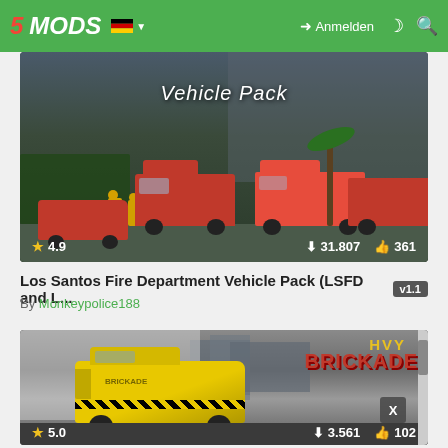5MODS — Anmelden
[Figure (screenshot): Los Santos Fire Department Vehicle Pack mod thumbnail showing red fire trucks and firefighters in a GTA scene, rated 4.9 stars, 31,807 downloads, 361 likes]
Los Santos Fire Department Vehicle Pack (LSFD and L... v1.1
By Monkeypolice188
[Figure (screenshot): HVY Brickade mod thumbnail showing a large yellow armored vehicle in a GTA city scene, rated 5.0 stars, 3,561 downloads, 102 likes]